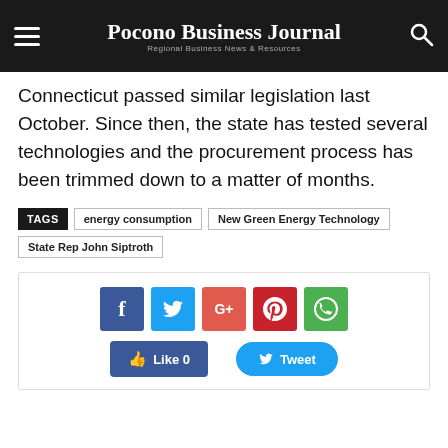Pocono Business Journal — Regional Business News & Resources
Connecticut passed similar legislation last October. Since then, the state has tested several technologies and the procurement process has been trimmed down to a matter of months.
TAGS  energy consumption  New Green Energy Technology  State Rep John Siptroth
[Figure (infographic): Social share buttons: Facebook (f), Twitter (bird), Google+ (G+), Pinterest (P), WhatsApp (circle with phone icon); Like 0 button and Tweet button below.]